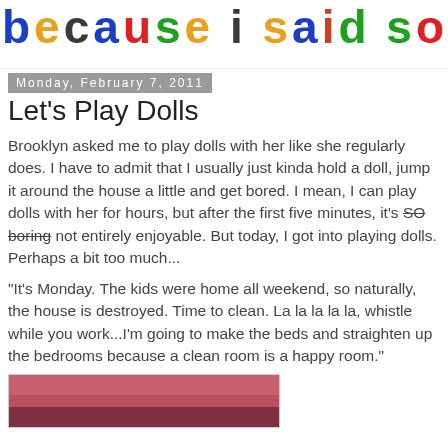because i said so
Monday, February 7, 2011
Let's Play Dolls
Brooklyn asked me to play dolls with her like she regularly does. I have to admit that I usually just kinda hold a doll, jump it around the house a little and get bored. I mean, I can play dolls with her for hours, but after the first five minutes, it's SO boring not entirely enjoyable. But today, I got into playing dolls. Perhaps a bit too much...
"It's Monday. The kids were home all weekend, so naturally, the house is destroyed. Time to clean. La la la la la, whistle while you work...I'm going to make the beds and straighten up the bedrooms because a clean room is a happy room."
[Figure (photo): Partial photo showing what appears to be a pink/red colored surface or bed]